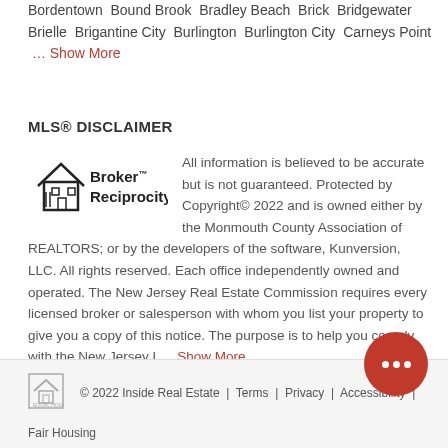Bordentown  Bound Brook  Bradley Beach  Brick  Bridgewater  Brielle  Brigantine City  Burlington  Burlington City  Carneys Point  ... Show More
MLS® DISCLAIMER
All information is believed to be accurate but is not guaranteed. Protected by Copyright© 2022 and is owned either by the Monmouth County Association of REALTORS; or by the developers of the software, Kunversion, LLC. All rights reserved. Each office independently owned and operated. The New Jersey Real Estate Commission requires every licensed broker or salesperson with whom you list your property to give you a copy of this notice. The purpose is to help you comply with the New Jersey L... Show More
[Figure (logo): Broker Reciprocity logo with house icon]
© 2022 Inside Real Estate  |  Terms  |  Privacy  |  Accessibility  |  Fair Housing